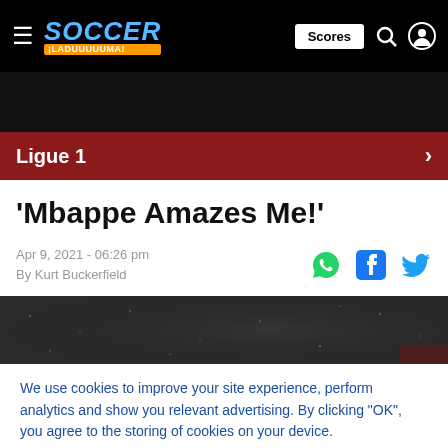SOCCER LADUUUUUMA! — Scores
Ligue 1
'Mbappe Amazes Me!'
Apr 9, 2021 - 06:26 pm
By Kurt Buckerfield
[Figure (photo): Dark textured photo strip, appears to be a stadium or pitch surface at night]
We use cookies to improve your site experience, perform analytics and show you relevant advertising. By clicking "OK", you agree to the storing of cookies on your device.